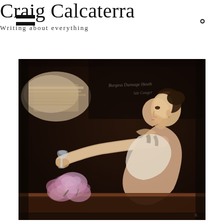Craig Calcaterra
Writing about everything
[Figure (photo): A classical oil painting of a woman in profile, wearing a white dress, reaching her arm out toward a glass with pink flowers, painted in dark tones with expressive brushwork, resembling a John Singer Sargent style portrait.]